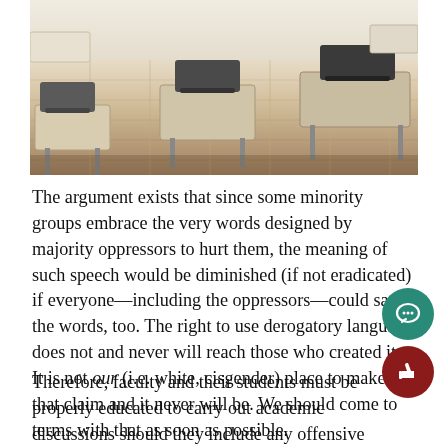[Figure (photo): Photograph of an empty classroom with rows of desks and chairs on a tiled floor]
The argument exists that since some minority groups embrace the very words designed by majority oppressors to hurt them, the meaning of such speech would be diminished (if not eradicated) if everyone—including the oppressors—could say the words, too. The right to use derogatory language does not and never will reach those who created it. It is not our (i.e. white, cisgender) place to make that claim and it never will be. We should come to terms with that as soon as possible.
Therefore, faculty and their students must be properly educated to carry out academic discussions should they include any offensive terms. It remains important to note that Chatham entertains a predominantly white student